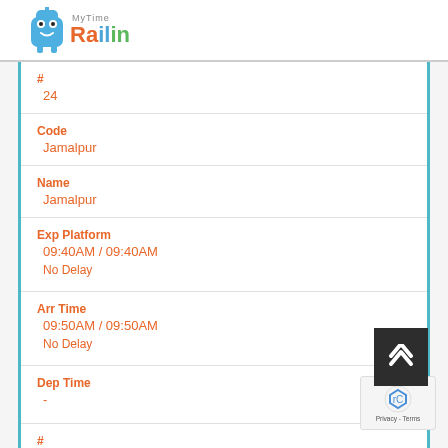MyTime Railin
| Field | Value |
| --- | --- |
| # | 24 |
| Code | Jamalpur |
| Name | Jamalpur |
| Exp Platform | 09:40AM / 09:40AM
No Delay |
| Arr Time | 09:50AM / 09:50AM
No Delay |
| Dep Time | - |
| # |  |